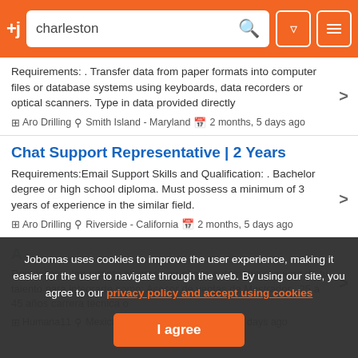+j charleston [search] [filter] [menu]
Requirements: . Transfer data from paper formats into computer files or database systems using keyboards, data recorders or optical scanners. Type in data provided directly
Aro Drilling  Smith Island - Maryland  2 months, 5 days ago
Chat Support Representative | 2 Years
Requirements:Email Support Skills and Qualification: . Bachelor degree or high school diploma. Must possess a minimum of 3 years of experience in the similar field.
Aro Drilling  Riverside - California  2 months, 5 days ago
Requisitos: . Importante empresa en el giro automotriz requiere de tu talento para integrarte como: Asesor de ventas de Mostrador:. 25 a 45 años  carrera técnica o
Humana11  Mexicali - California  2 months, 5 days ago
Jobomas uses cookies to improve the user experience, making it easier for the user to navigate through the web. By using our site, you agree to our privacy policy and accept using cookies
I agree